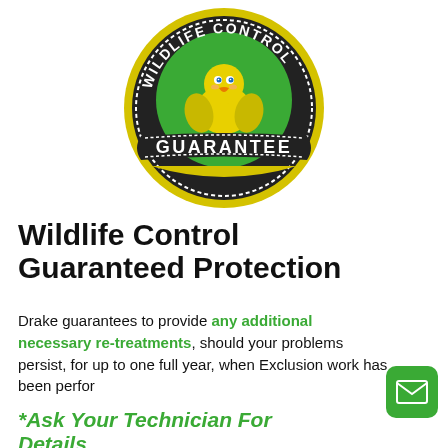[Figure (logo): Wildlife Control Guarantee circular badge logo with yellow outer ring, dark band with 'WILDLIFE CONTROL' text curving at top, green inner circle with cartoon duck mascot, and black ribbon banner saying 'GUARANTEE' with dotted border]
Wildlife Control Guaranteed Protection
Drake guarantees to provide any additional necessary re-treatments, should your problems persist, for up to one full year, when Exclusion work has been perfor
*Ask Your Technician For Details